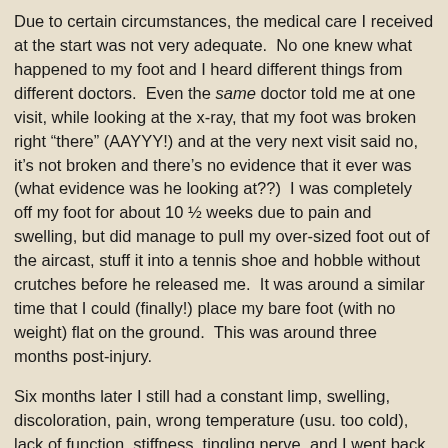Due to certain circumstances, the medical care I received at the start was not very adequate. No one knew what happened to my foot and I heard different things from different doctors. Even the same doctor told me at one visit, while looking at the x-ray, that my foot was broken right “there” (AAYYY!) and at the very next visit said no, it’s not broken and there’s no evidence that it ever was (what evidence was he looking at??) I was completely off my foot for about 10 ½ weeks due to pain and swelling, but did manage to pull my over-sized foot out of the aircast, stuff it into a tennis shoe and hobble without crutches before he released me. It was around a similar time that I could (finally!) place my bare foot (with no weight) flat on the ground. This was around three months post-injury.
Six months later I still had a constant limp, swelling, discoloration, pain, wrong temperature (usu. too cold), lack of function, stiffness, tingling nerve, and I went back to the doctor (different one this time). I’ve been working with her now for about four months. I’ve seen some improvement